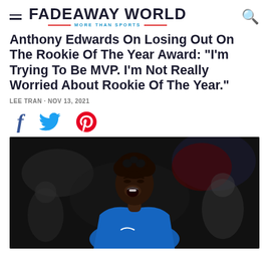FADEAWAY WORLD — MORE THAN SPORTS
Anthony Edwards On Losing Out On The Rookie Of The Year Award: "I'm Trying To Be MVP. I'm Not Really Worried About Rookie Of The Year."
LEE TRAN · NOV 13, 2021
[Figure (photo): Anthony Edwards in a blue Minnesota Timberwolves jersey, mouth open roaring/yelling in celebration or intensity, caught mid-emotion on a dark arena background.]